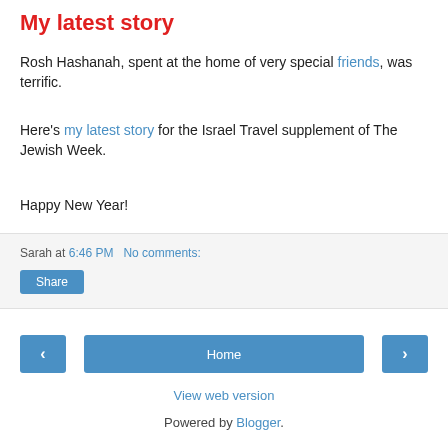My latest story
Rosh Hashanah, spent at the home of very special friends, was terrific.
Here's my latest story for the Israel Travel supplement of The Jewish Week.
Happy New Year!
Sarah at 6:46 PM   No comments:
Share
Home
View web version
Powered by Blogger.